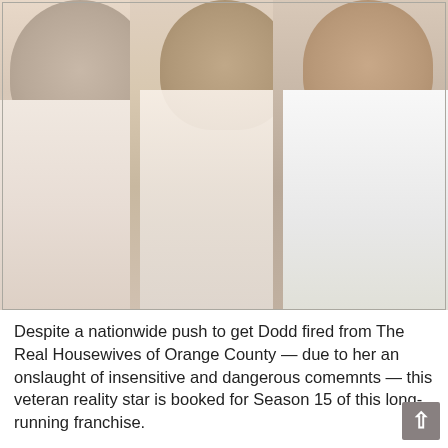[Figure (photo): Three women posing together, wearing white and cream/lace dresses, in an elegant interior setting]
Despite a nationwide push to get Dodd fired from The Real Housewives of Orange County — due to her an onslaught of insensitive and dangerous comemnts — this veteran reality star is booked for Season 15 of this long-running franchise.